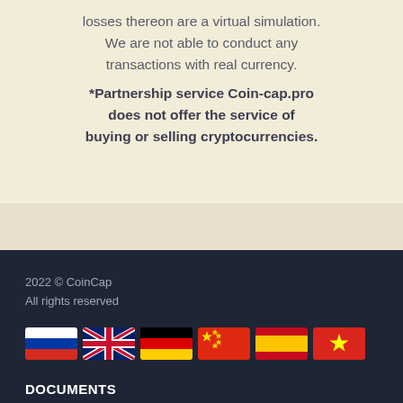losses thereon are a virtual simulation. We are not able to conduct any transactions with real currency.
*Partnership service Coin-cap.pro does not offer the service of buying or selling cryptocurrencies.
2022 © CoinCap
All rights reserved
[Figure (illustration): Six country flag icons in a row: Russia, United Kingdom, Germany, China, Spain, Vietnam]
DOCUMENTS